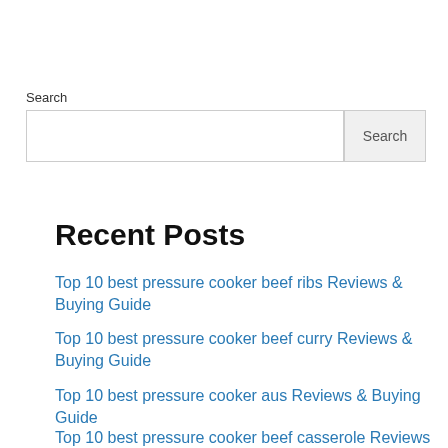Search
[Figure (screenshot): Search input box with Search button]
Recent Posts
Top 10 best pressure cooker beef ribs Reviews & Buying Guide
Top 10 best pressure cooker beef curry Reviews & Buying Guide
Top 10 best pressure cooker aus Reviews & Buying Guide
Top 10 best pressure cooker beef casserole Reviews &